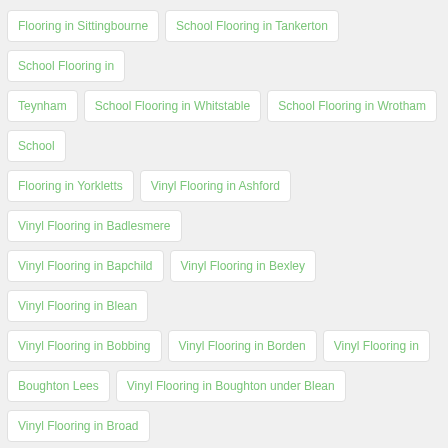Flooring in Sittingbourne
School Flooring in Tankerton
School Flooring in Teynham
School Flooring in Whitstable
School Flooring in Wrotham
School Flooring in Yorkletts
Vinyl Flooring in Ashford
Vinyl Flooring in Badlesmere
Vinyl Flooring in Bapchild
Vinyl Flooring in Bexley
Vinyl Flooring in Blean
Vinyl Flooring in Bobbing
Vinyl Flooring in Borden
Vinyl Flooring in Boughton Lees
Vinyl Flooring in Boughton under Blean
Vinyl Flooring in Broad Oak
Vinyl Flooring in Canterbury
Vinyl Flooring in Challock
Vinyl Flooring in Charing
Vinyl Flooring in Chartham
Vinyl Flooring in Conyer
Vinyl Flooring in Dargate
Vinyl Flooring in Dartford
Vinyl Flooring in Doddington
Vinyl Flooring in Dunkirk
Vinyl Flooring in Eastchurch
Vinyl Flooring in